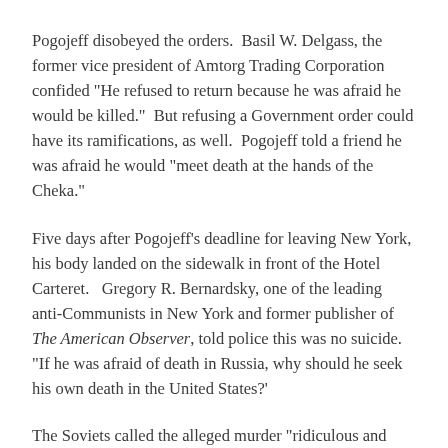Pogojeff disobeyed the orders.  Basil W. Delgass, the former vice president of Amtorg Trading Corporation confided "He refused to return because he was afraid he would be killed."  But refusing a Government order could have its ramifications, as well.  Pogojeff told a friend he was afraid he would "meet death at the hands of the Cheka."
Five days after Pogojeff's deadline for leaving New York, his body landed on the sidewalk in front of the Hotel Carteret.   Gregory R. Bernardsky, one of the leading anti-Communists in New York and former publisher of The American Observer, told police this was no suicide.  "If he was afraid of death in Russia, why should he seek his own death in the United States?'
The Soviets called the alleged murder "ridiculous and preposterous."  The official explanation was that Pogojeff